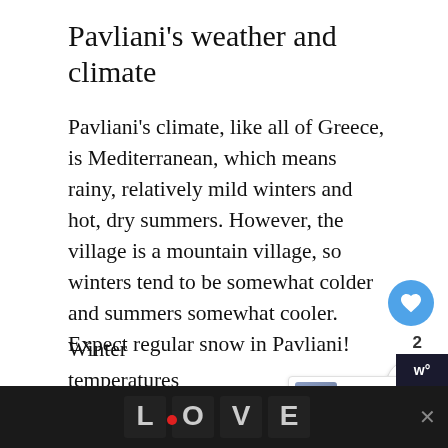Pavliani’s weather and climate
Pavliani’s climate, like all of Greece, is Mediterranean, which means rainy, relatively mild winters and hot, dry summers. However, the village is a mountain village, so winters tend to be somewhat colder and summers somewhat cooler. Expect regular snow in Pavliani!
Winter temperatures average around 0-5 degrees Celsius while summer temperatures can go 30-35 degrees Celsius. During heatwaves temperatures can climb up even higher, touching 40
[Figure (screenshot): Heart/like button (blue circle with heart icon), like count '2', and share button on right side of page]
[Figure (screenshot): What's Next widget showing Villa Hurmuses a... with thumbnail image]
[Figure (screenshot): Bottom advertisement bar with LOVE text art graphic and close X button, weather widget icon on right]